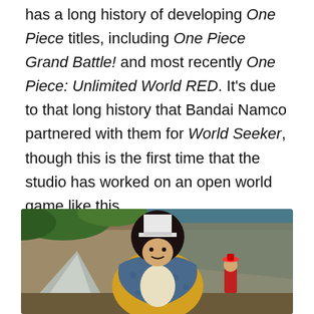has a long history of developing One Piece titles, including One Piece Grand Battle! and most recently One Piece: Unlimited World RED. It's due to that long history that Bandai Namco partnered with them for World Seeker, though this is the first time that the studio has worked on an open world game like this.
[Figure (photo): A game screenshot showing an anime-style character with a white top hat, afro, yellow/leopard print clothing in front of rocky outdoor environment with green foliage in background.]